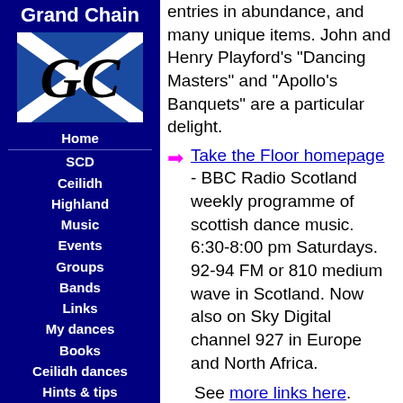Grand Chain
[Figure (logo): Grand Chain logo: Scottish saltire (blue background, white diagonal cross) with black stylized GC letters overlaid]
Home
SCD
Ceilidh
Highland
Music
Events
Groups
Bands
Links
My dances
Books
Ceilidh dances
Hints & tips
Search
Changes
The RSCDS
entries in abundance, and many unique items. John and Henry Playford's "Dancing Masters" and "Apollo's Banquets" are a particular delight.
Take the Floor homepage - BBC Radio Scotland weekly programme of scottish dance music. 6:30-8:00 pm Saturdays. 92-94 FM or 810 medium wave in Scotland. Now also on Sky Digital channel 927 in Europe and North Africa.
See more links here.
There is a searchable archive of postings to the Scots-L music list at eGroups.
It is also part of